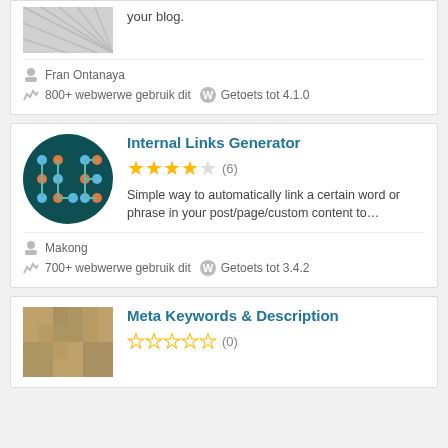your blog.
Fran Ontanaya
800+ webwerwe gebruik dit   Getoets tot 4.1.0
[Figure (logo): ILG Internal Links Generator dark teal circular logo with connected node graph letters ILG]
Internal Links Generator
★★★★☆ (6)
Simple way to automatically link a certain word or phrase in your post/page/custom content to…
Makong
700+ webwerwe gebruik dit   Getoets tot 3.4.2
Meta Keywords & Description
☆☆☆☆☆ (0)